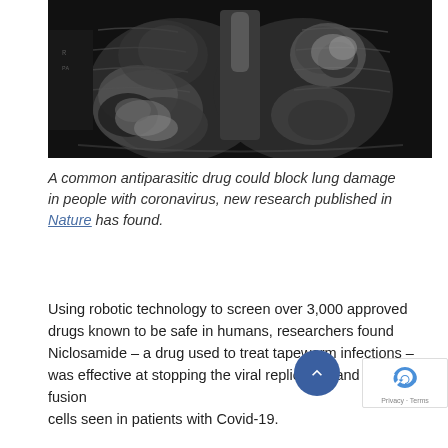[Figure (photo): Chest X-ray image showing lungs, black and white radiograph, visible lung opacity/damage bilaterally]
A common antiparasitic drug could block lung damage in people with coronavirus, new research published in Nature has found.
Using robotic technology to screen over 3,000 approved drugs known to be safe in humans, researchers found Niclosamide – a drug used to treat tapeworm infections – was effective at stopping the viral replication and fusion cells seen in patients with Covid-19.